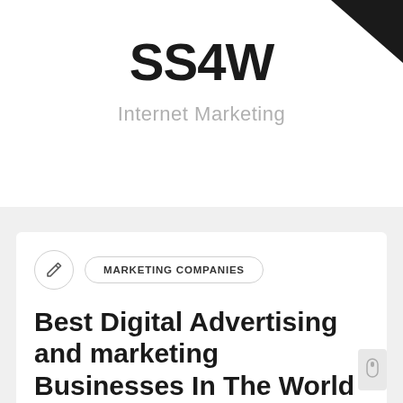[Figure (logo): SS4W Internet Marketing logo with bold black text and gray tagline]
MARKETING COMPANIES
Best Digital Advertising and marketing Businesses In The World